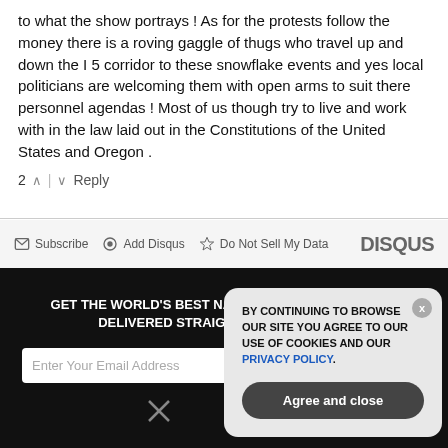to what the show portrays ! As for the protests follow the money there is a roving gaggle of thugs who travel up and down the I 5 corridor to these snowflake events and yes local politicians are welcoming them with open arms to suit there personnel agendas ! Most of us though try to live and work with in the law laid out in the Constitutions of the United States and Oregon .
2 ^ | v Reply
Subscribe  Add Disqus  Do Not Sell My Data  DISQUS
GET THE WORLD'S BEST NATURAL HEALTH NEWSLETTER DELIVERED STRAIGHT TO YOUR INBOX
Enter Your Email Address
BY CONTINUING TO BROWSE OUR SITE YOU AGREE TO OUR USE OF COOKIES AND OUR PRIVACY POLICY.
Agree and close